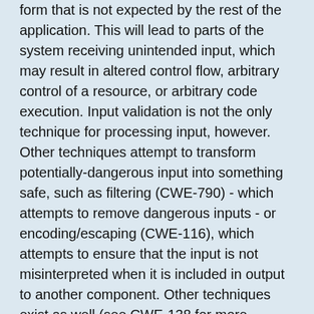form that is not expected by the rest of the application. This will lead to parts of the system receiving unintended input, which may result in altered control flow, arbitrary control of a resource, or arbitrary code execution. Input validation is not the only technique for processing input, however. Other techniques attempt to transform potentially-dangerous input into something safe, such as filtering (CWE-790) - which attempts to remove dangerous inputs - or encoding/escaping (CWE-116), which attempts to ensure that the input is not misinterpreted when it is included in output to another component. Other techniques exist as well (see CWE-138 for more examples.) Input validation can be applied to:
Data can be simple or structured. Structured data can be composed of many nested layers, composed of combinations of metadata and raw data, with other simple or structured data. Many properties of raw data or metadata may need to be validated upon